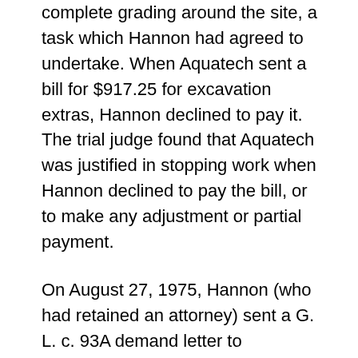complete grading around the site, a task which Hannon had agreed to undertake. When Aquatech sent a bill for $917.25 for excavation extras, Hannon declined to pay it. The trial judge found that Aquatech was justified in stopping work when Hannon declined to pay the bill, or to make any adjustment or partial payment.
On August 27, 1975, Hannon (who had retained an attorney) sent a G. L. c. 93A demand letter to Aquatech alleging unfair and deceptive practices as to "the time of construction and the cost of said construction." He contended that Aquatech had engaged in "low-balling" and "commercial bribery," and explained those terms. Hannon demanded (1) a credit of $750 for work done on the pool by him, (2) deletion of all charges for extras, and (3) attorney's fees of $500. Aquatech responded by counsel on September 16, 1975, offering to negotiate